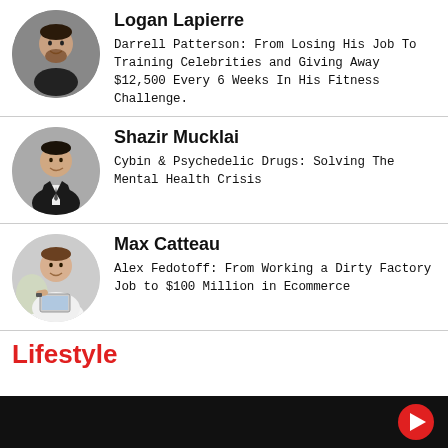[Figure (photo): Circular avatar photo of Logan Lapierre, man with beard in dark clothing]
Logan Lapierre
Darrell Patterson: From Losing His Job To Training Celebrities and Giving Away $12,500 Every 6 Weeks In His Fitness Challenge.
[Figure (photo): Circular avatar photo of Shazir Mucklai, man in suit with tie]
Shazir Mucklai
Cybin & Psychedelic Drugs: Solving The Mental Health Crisis
[Figure (photo): Circular avatar photo of Max Catteau, man in white shirt holding a laptop]
Max Catteau
Alex Fedotoff: From Working a Dirty Factory Job to $100 Million in Ecommerce
Lifestyle